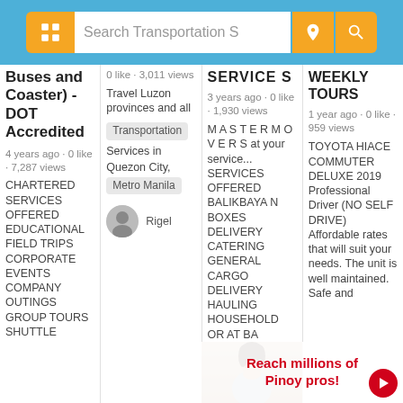Search Transportation S
Buses and Coaster) - DOT Accredited
4 years ago · 0 like · 7,287 views
CHARTERED SERVICES OFFERED EDUCATIONAL FIELD TRIPS CORPORATE EVENTS COMPANY OUTINGS GROUP TOURS SHUTTLE
0 like · 3,011 views
Travel Luzon provinces and all
Transportation Services in Quezon City, Metro Manila
Rigel
SERVICES
3 years ago · 0 like · 1,930 views
MASTER MOVERS at your service... SERVICES OFFERED BALIKBAYAN BOXES DELIVERY CATERING GENERAL CARGO DELIVERY HAULING HOUSEHOLD OR AT BA
WEEKLY TOURS
1 year ago · 0 like · 959 views
TOYOTA HIACE COMMUTER DELUXE 2019 Professional Driver (NO SELF DRIVE) Affordable rates that will suit your needs. The unit is well maintained. Safe and
[Figure (photo): Woman photo in bottom of col 3 with promotional banner overlay reading 'Reach millions of Pinoy pros!']